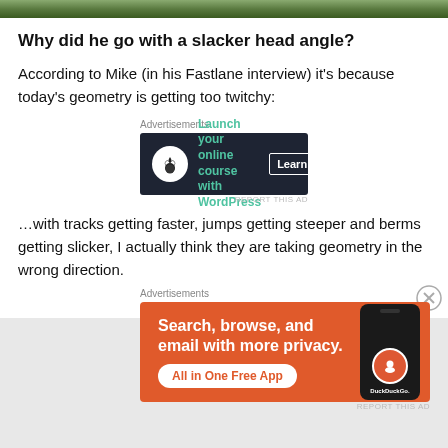[Figure (photo): Partial top image of a nature/outdoor scene, partially cropped]
Why did he go with a slacker head angle?
According to Mike (in his Fastlane interview) it’s because today’s geometry is getting too twitchy:
[Figure (infographic): Advertisement: Launch your online course with WordPress. Learn More button.]
…with tracks getting faster, jumps getting steeper and berms getting slicker, I actually think they are taking geometry in the wrong direction.
[Figure (infographic): Advertisement: DuckDuckGo. Search, browse, and email with more privacy. All in One Free App.]